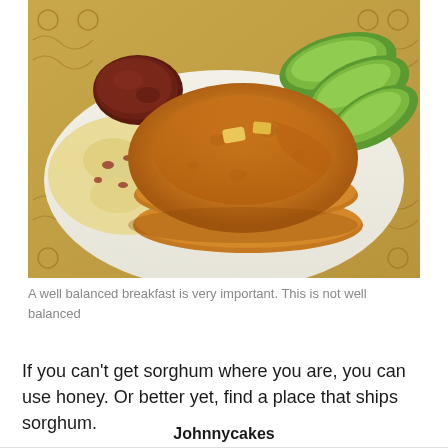[Figure (photo): A breakfast plate with a stack of pancakes topped with butter and syrup, scrambled eggs with bacon bits on the left, sliced avocado in the upper right, and a decorative patterned background/placemat.]
A well balanced breakfast is very important. This is not well balanced
If you can't get sorghum where you are, you can use honey. Or better yet, find a place that ships sorghum.
Johnnycakes